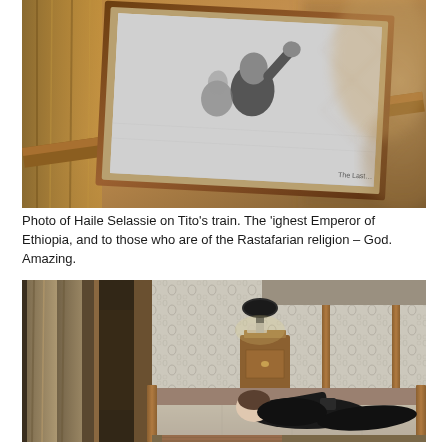[Figure (photo): Close-up photo of a framed black-and-white photograph of Haile Selassie waving, displayed on what appears to be a wooden surface inside a train carriage. The frame has a dark wooden border and the background shows warm-toned blurred surroundings. A small text label is visible in the bottom-right corner of the photo reading 'The Last...'.]
Photo of Haile Selassie on Tito's train. The 'ighest Emperor of Ethiopia, and to those who are of the Rastafarian religion – God. Amazing.
[Figure (photo): Interior photograph of a train compartment showing a person dressed in black lying on a narrow bunk bed/bench. The room has vintage floral wallpaper, wood-paneled walls, and a small bedside table with a lamp. To the left is a corridor with curtains. The mattress is patterned and the floor has a decorative rug.]